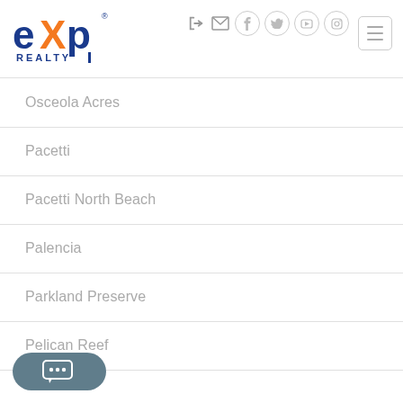[Figure (logo): eXp Realty logo — blue 'exp' text with orange X, 'REALTY' below]
Osceola Acres
Pacetti
Pacetti North Beach
Palencia
Parkland Preserve
Pelican Reef